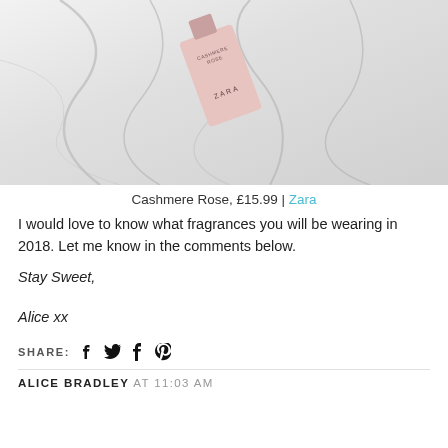[Figure (photo): A pink Zara Cashmere Rose perfume bottle lying on a white marble surface]
Cashmere Rose, £15.99 | Zara
I would love to know what fragrances you will be wearing in 2018. Let me know in the comments below.
Stay Sweet,
Alice xx
SHARE:
ALICE BRADLEY AT 11:03 AM